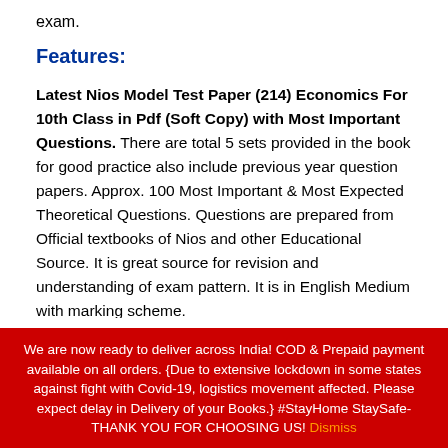exam.
Features:
Latest Nios Model Test Paper (214) Economics For 10th Class in Pdf (Soft Copy) with Most Important Questions. There are total 5 sets provided in the book for good practice also include previous year question papers. Approx. 100 Most Important & Most Expected Theoretical Questions. Questions are prepared from Official textbooks of Nios and other Educational Source. It is great source for revision and understanding of exam pattern. It is in English Medium with marking scheme.
We are now ready to deliver across India! COD & Prepaid payment available on all orders. {Due to extensive lockdown in some states against fight with Covid-19, logistics movement affected. Please expect delay in Delivery of your Books.} #StayHome StaySafe- THANK YOU FOR CHOOSING US! Dismiss